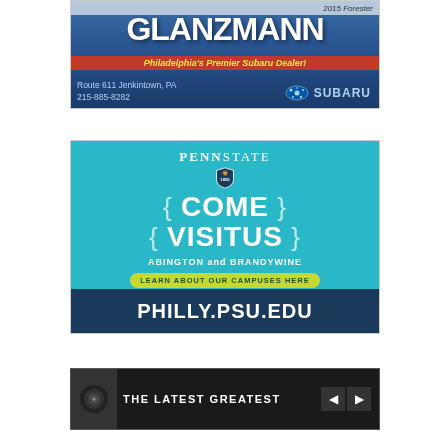[Figure (advertisement): Glanzmann Philadelphia's Premier Subaru Dealer advertisement. Shows '2015 Forester', large GLANZMANN text, tagline 'Philadelphia's Premier Subaru Dealer!', address 'Route 611 Jenkintown, PA 215-885-8282', and Subaru logo.]
[Figure (advertisement): Penn State advertisement with teal background. Shows Penn State wordmark with shield logo, curly brace design with 'COME VISIT US', 'ABINGTON and BRANDYWINE', 'LEARN ABOUT OUR CAMPUSES HERE' button, and 'PHILLY.PSU.EDU' in dark blue footer.]
[Figure (advertisement): Dark banner advertisement showing a vinyl record icon, text 'THE LATEST GREATEST', and left/right navigation arrows on a black background.]